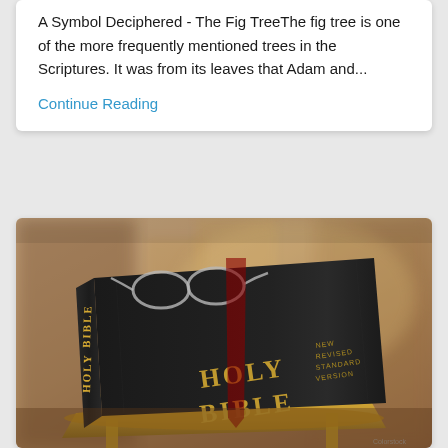A Symbol Deciphered - The Fig TreeThe fig tree is one of the more frequently mentioned trees in the Scriptures. It was from its leaves that Adam and...
Continue Reading
[Figure (photo): A black Holy Bible (New Revised Standard Version) resting on an ornate golden stand or lectern, photographed at an angle with a blurred warm brown background.]